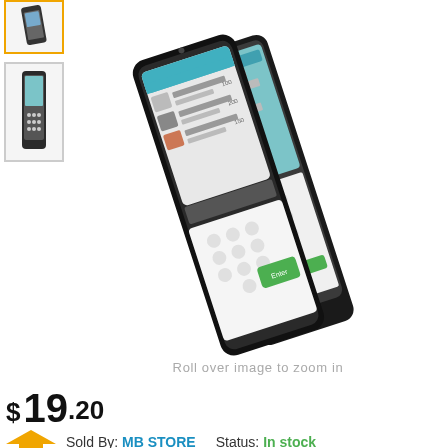[Figure (photo): Small thumbnail of a handheld POS terminal device shown at an angle, with yellow border indicating selected state]
[Figure (photo): Small thumbnail of a handheld POS terminal device shown upright]
[Figure (photo): Main product image: two Sunmi/handheld POS payment terminal devices shown at a diagonal angle with touchscreen displaying a payment interface and numpad]
Roll over image to zoom in
$ 19.20
Sold By: MB STORE    Status: In stock